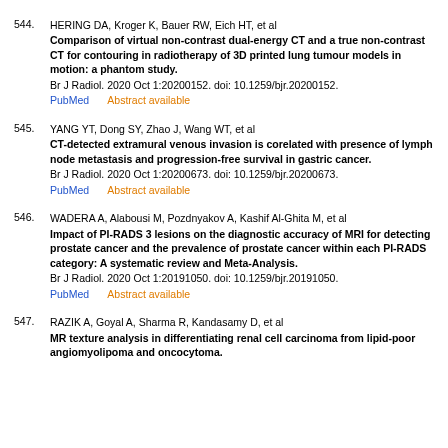544. HERING DA, Kroger K, Bauer RW, Eich HT, et al. Comparison of virtual non-contrast dual-energy CT and a true non-contrast CT for contouring in radiotherapy of 3D printed lung tumour models in motion: a phantom study. Br J Radiol. 2020 Oct 1:20200152. doi: 10.1259/bjr.20200152. PubMed   Abstract available
545. YANG YT, Dong SY, Zhao J, Wang WT, et al. CT-detected extramural venous invasion is corelated with presence of lymph node metastasis and progression-free survival in gastric cancer. Br J Radiol. 2020 Oct 1:20200673. doi: 10.1259/bjr.20200673. PubMed   Abstract available
546. WADERA A, Alabousi M, Pozdnyakov A, Kashif Al-Ghita M, et al. Impact of PI-RADS 3 lesions on the diagnostic accuracy of MRI for detecting prostate cancer and the prevalence of prostate cancer within each PI-RADS category: A systematic review and Meta-Analysis. Br J Radiol. 2020 Oct 1:20191050. doi: 10.1259/bjr.20191050. PubMed   Abstract available
547. RAZIK A, Goyal A, Sharma R, Kandasamy D, et al. MR texture analysis in differentiating renal cell carcinoma from lipid-poor angiomyolipoma and oncocytoma.